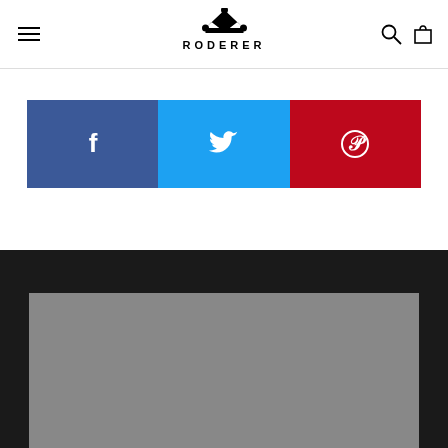[Figure (logo): Roderer brand logo with crown icon and uppercase lettering]
[Figure (infographic): Social sharing bar with three buttons: Facebook (blue), Twitter (light blue), Pinterest (red)]
[Figure (photo): Gray placeholder image in dark section footer]